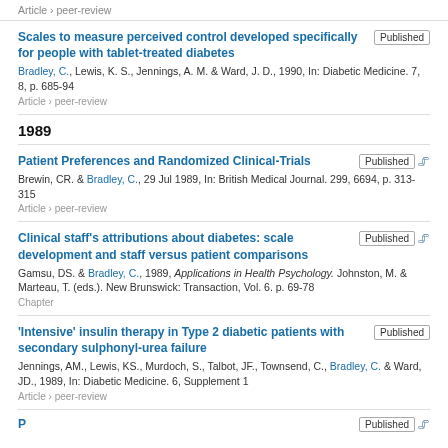Article › peer-review
Scales to measure perceived control developed specifically for people with tablet-treated diabetes
Bradley, C., Lewis, K. S., Jennings, A. M. & Ward, J. D., 1990, In: Diabetic Medicine. 7, 8, p. 685-94
Article › peer-review
1989
Patient Preferences and Randomized Clinical-Trials
Brewin, CR. & Bradley, C., 29 Jul 1989, In: British Medical Journal. 299, 6694, p. 313-315
Article › peer-review
Clinical staff's attributions about diabetes: scale development and staff versus patient comparisons
Gamsu, DS. & Bradley, C., 1989, Applications in Health Psychology. Johnston, M. & Marteau, T. (eds.). New Brunswick: Transaction, Vol. 6. p. 69-78
Chapter
'Intensive' insulin therapy in Type 2 diabetic patients with secondary sulphonyl-urea failure
Jennings, AM., Lewis, KS., Murdoch, S., Talbot, JF., Townsend, C., Bradley, C. & Ward, JD., 1989, In: Diabetic Medicine. 6, Supplement 1
Article › peer-review